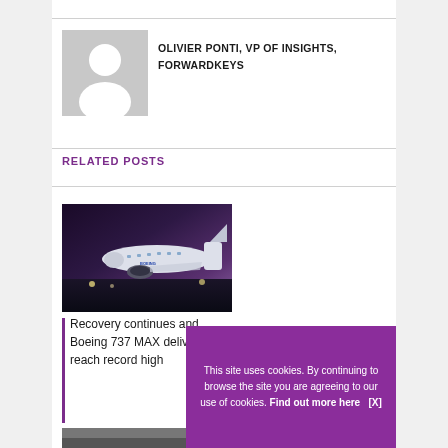[Figure (illustration): Grey placeholder avatar image showing a white silhouette of a person on grey background]
OLIVIER PONTI, VP OF INSIGHTS, FORWARDKEYS
RELATED POSTS
[Figure (photo): Night photo of Boeing 737 MAX aircraft on tarmac with dramatic lighting]
Recovery continues and Boeing 737 MAX deliveries reach record high
This site uses cookies. By continuing to browse the site you are agreeing to our use of cookies. Find out more here [X]